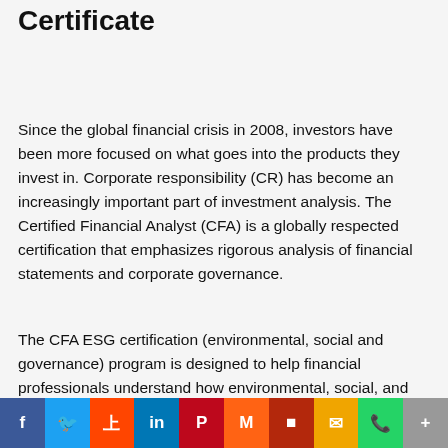Certificate
Since the global financial crisis in 2008, investors have been more focused on what goes into the products they invest in. Corporate responsibility (CR) has become an increasingly important part of investment analysis. The Certified Financial Analyst (CFA) is a globally respected certification that emphasizes rigorous analysis of financial statements and corporate governance.
The CFA ESG certification (environmental, social and governance) program is designed to help financial professionals understand how environmental, social, and